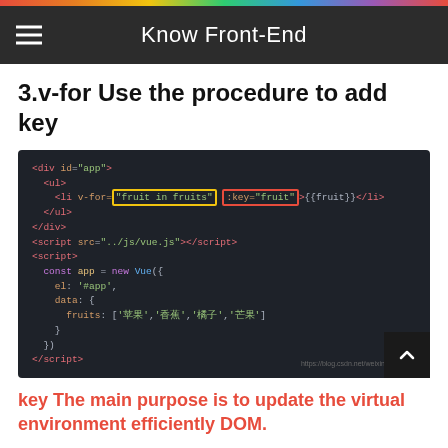Know Front-End
3.v-for Use the procedure to add key
[Figure (screenshot): Code editor screenshot showing Vue.js HTML template with v-for directive using 'fruit in fruits' highlighted in yellow box and :key="fruit" highlighted in red box, followed by a script block with Vue instance containing a fruits array with Chinese characters ['苹果','香蕉','橘子','芒果']. Watermark: https://blog.csdn.net/weixin_41042200]
key The main purpose is to update the virtual environment efficiently DOM.